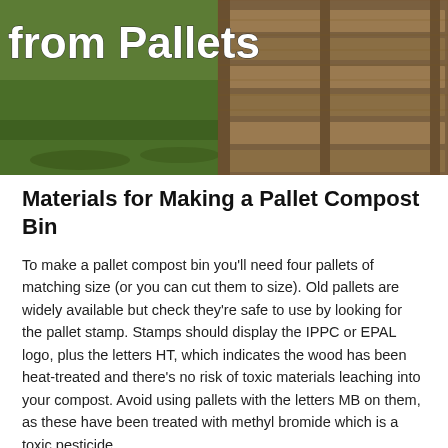[Figure (photo): Photo of a wooden pallet compost bin structure in a garden with green grass in the background. White bold text overlay reads 'from Pallets'.]
Materials for Making a Pallet Compost Bin
To make a pallet compost bin you'll need four pallets of matching size (or you can cut them to size). Old pallets are widely available but check they're safe to use by looking for the pallet stamp. Stamps should display the IPPC or EPAL logo, plus the letters HT, which indicates the wood has been heat-treated and there's no risk of toxic materials leaching into your compost. Avoid using pallets with the letters MB on them, as these have been treated with methyl bromide which is a toxic pesticide.
To join the pallets together you will need four corner